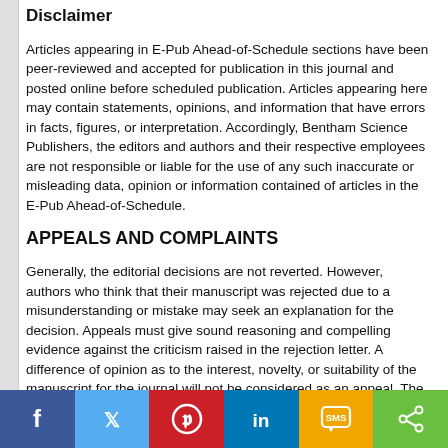Disclaimer
Articles appearing in E-Pub Ahead-of-Schedule sections have been peer-reviewed and accepted for publication in this journal and posted online before scheduled publication. Articles appearing here may contain statements, opinions, and information that have errors in facts, figures, or interpretation. Accordingly, Bentham Science Publishers, the editors and authors and their respective employees are not responsible or liable for the use of any such inaccurate or misleading data, opinion or information contained of articles in the E-Pub Ahead-of-Schedule.
APPEALS AND COMPLAINTS
Generally, the editorial decisions are not reverted. However, authors who think that their manuscript was rejected due to a misunderstanding or mistake may seek an explanation for the decision. Appeals must give sound reasoning and compelling evidence against the criticism raised in the rejection letter. A difference of opinion as to the interest, novelty, or suitability of the manuscript for the journal will not be considered as an appeal. The EIC and other relevant editors will consider the appeal and the decision thereafter taken by the journal will be deemed final, irrespective of the request or rejection or appeal.
[Figure (infographic): Social sharing bar with icons for Facebook, Twitter, Pinterest, LinkedIn, SMS, and Share]